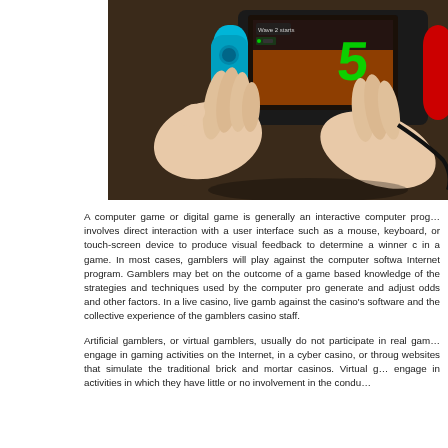[Figure (photo): Hands holding a Nintendo Switch handheld gaming console, playing a game (appears to show a green number 5 on screen) on a wooden surface background. The console has cyan/blue left Joy-Con controller visible.]
A computer game or digital game is generally an interactive computer program that involves direct interaction with a user interface such as a mouse, keyboard, or touch-screen device to produce visual feedback to determine a winner or loser in a game. In most cases, gamblers will play against the computer software Internet program. Gamblers may bet on the outcome of a game based on knowledge of the strategies and techniques used by the computer program to generate and adjust odds and other factors. In a live casino, live gamblers play against the casino's software and the collective experience of the gamblers and casino staff.
Artificial gamblers, or virtual gamblers, usually do not participate in real gambling but engage in gaming activities on the Internet, in a cyber casino, or through websites that simulate the traditional brick and mortar casinos. Virtual gamblers engage in activities in which they have little or no involvement in the conduct...